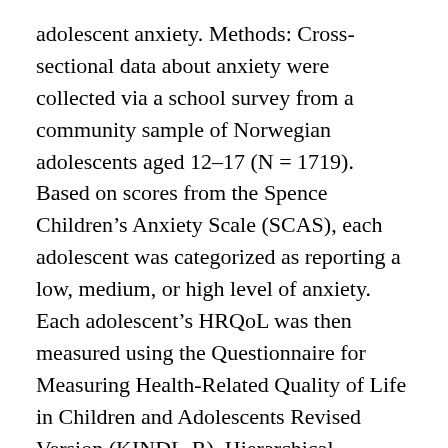adolescent anxiety. Methods: Cross-sectional data about anxiety were collected via a school survey from a community sample of Norwegian adolescents aged 12–17 (N = 1719). Based on scores from the Spence Children's Anxiety Scale (SCAS), each adolescent was categorized as reporting a low, medium, or high level of anxiety. Each adolescent's HRQoL was then measured using the Questionnaire for Measuring Health-Related Quality of Life in Children and Adolescents Revised Version (KINDL-R). Hierarchical regression analyses were performed to determine any relationship between anxiety symptoms and HRQoL. Results: Across domains of anxiety, anxiety symptoms were inversely associated with overall HRQoL. All HRQoL-dimensions were inversely associated with overall level of anxiety symptoms. In adolescents with medium and high anxiety symptoms, poor HRQoL was documented in all HRQoL dimensions with the exception of the family dimension. Conclusions: The strong association between elevated levels of anxiety symptoms and poor